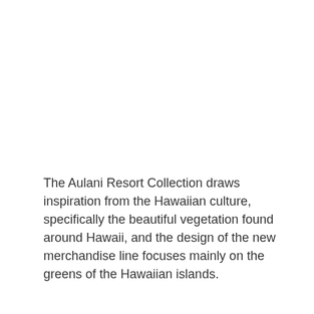The Aulani Resort Collection draws inspiration from the Hawaiian culture, specifically the beautiful vegetation found around Hawaii, and the design of the new merchandise line focuses mainly on the greens of the Hawaiian islands.